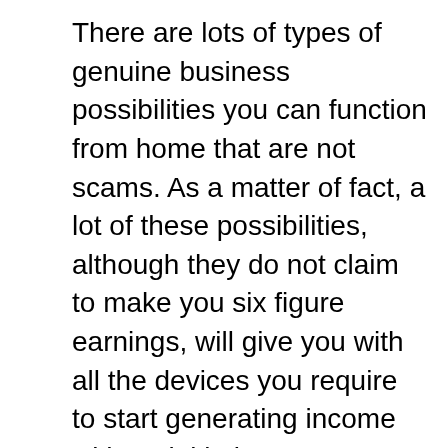There are lots of types of genuine business possibilities you can function from home that are not scams. As a matter of fact, a lot of these possibilities, although they do not claim to make you six figure earnings, will give you with all the devices you require to start generating income with no initiative on your component. You may not have the ability to be an immediate millionaire, but there are a host of chances that guarantee you will certainly make sufficient money to get by and also attend to your household. Below are some examples of work at home business possibilities where you do not require an upfront investment of cash or time to begin to see profits.
The fantastic aspect of multi level marketing